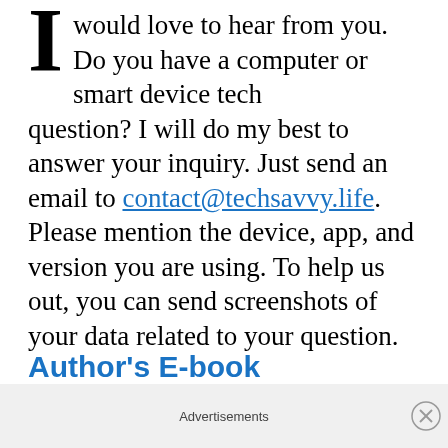I would love to hear from you. Do you have a computer or smart device tech question? I will do my best to answer your inquiry. Just send an email to contact@techsavvy.life. Please mention the device, app, and version you are using. To help us out, you can send screenshots of your data related to your question.
Author's E-book
Advertisements